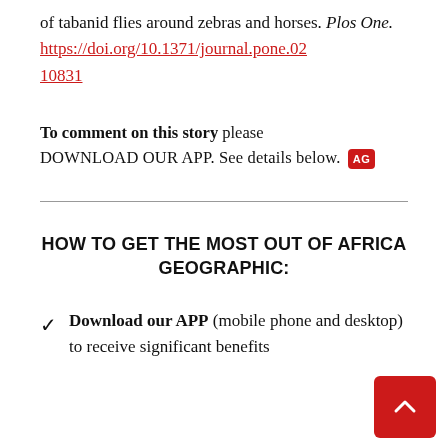of tabanid flies around zebras and horses. Plos One. https://doi.org/10.1371/journal.pone.0210831
To comment on this story please DOWNLOAD OUR APP. See details below. [AG]
HOW TO GET THE MOST OUT OF AFRICA GEOGRAPHIC:
Download our APP (mobile phone and desktop) to receive significant benefits